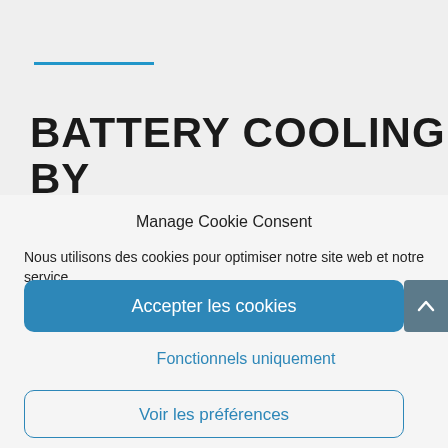BATTERY COOLING BY IMMERSION OF THE CELLS
Manage Cookie Consent
Nous utilisons des cookies pour optimiser notre site web et notre service.
Accepter les cookies
Fonctionnels uniquement
Voir les préférences